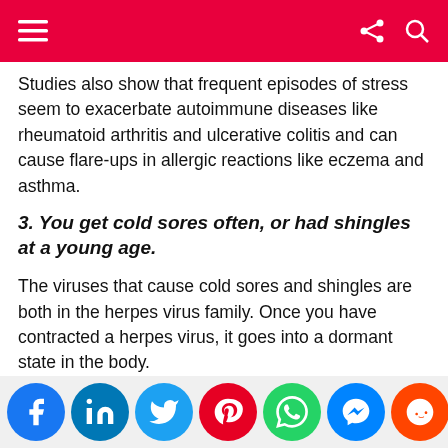Studies also show that frequent episodes of stress seem to exacerbate autoimmune diseases like rheumatoid arthritis and ulcerative colitis and can cause flare-ups in allergic reactions like eczema and asthma.
3. You get cold sores often, or had shingles at a young age.
The viruses that cause cold sores and shingles are both in the herpes virus family. Once you have contracted a herpes virus, it goes into a dormant state in the body.
[Figure (infographic): Social media sharing icons row: Facebook, LinkedIn, Twitter, Pinterest, WhatsApp, Messenger, Reddit, Mix, MeWe, upload/share button]